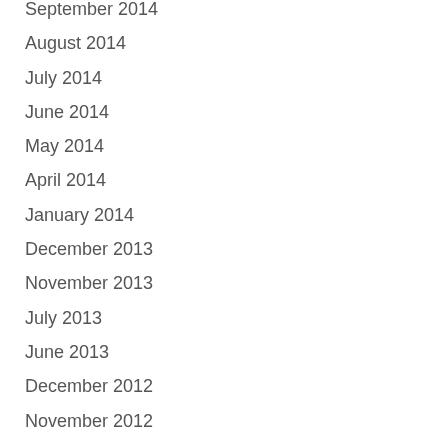September 2014
August 2014
July 2014
June 2014
May 2014
April 2014
January 2014
December 2013
November 2013
July 2013
June 2013
December 2012
November 2012
October 2012
September 2012
August 2012
June 2012
May 2012